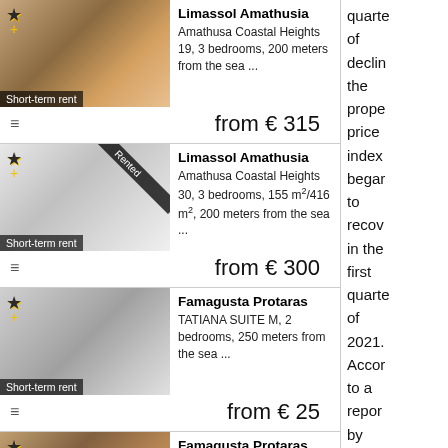[Figure (photo): Interior photo of apartment with orange accents, sofa, coffee table. Short-term rent badge. Listing for Limassol Amathusia, from €315.]
Limassol Amathusia
Amathusa Coastal Heights 19, 3 bedrooms, 200 meters from the sea ...
from € 315
[Figure (photo): Interior photo of bright apartment with 'Rented' diagonal banner. Short-term rent badge. Listing for Limassol Amathusia, from €300.]
Limassol Amathusia
Amathusa Coastal Heights 30, 3 bedrooms, 155 m²/416 m², 200 meters from the sea ...
from € 300
[Figure (photo): Interior photo of modern apartment with grey sofa and orange cushions. Short-term rent badge. Listing for Famagusta Protaras, from €25.]
Famagusta Protaras
TATIANA SUITE M, 2 bedrooms, 250 meters from the sea ...
from € 25
[Figure (photo): Partial interior photo of apartment. Listing for Famagusta Protaras, MARIA SUITE M, 2 bedrooms, 250...]
Famagusta Protaras
MARIA SUITE M, 2 bedrooms, 250
quarters of decline the property price index began to recover in the first quarter of 2021. According to a report by